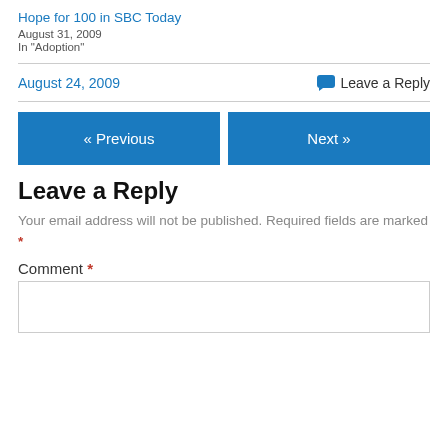Hope for 100 in SBC Today
August 31, 2009
In "Adoption"
August 24, 2009
Leave a Reply
« Previous
Next »
Leave a Reply
Your email address will not be published. Required fields are marked *
Comment *